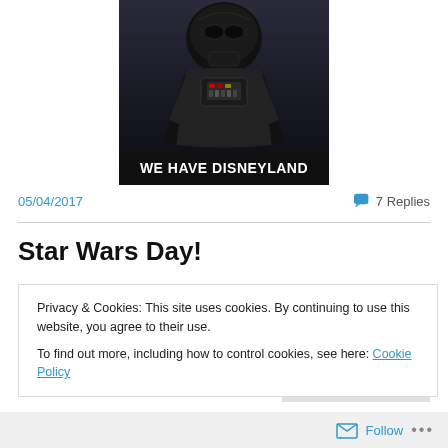[Figure (photo): Darth Vader in black armor with text 'WE HAVE DISNEYLAND' at the bottom of the image]
05/04/2017
7 Replies
Star Wars Day!
Privacy & Cookies: This site uses cookies. By continuing to use this website, you agree to their use.
To find out more, including how to control cookies, see here: Cookie Policy
Close and accept
Follow